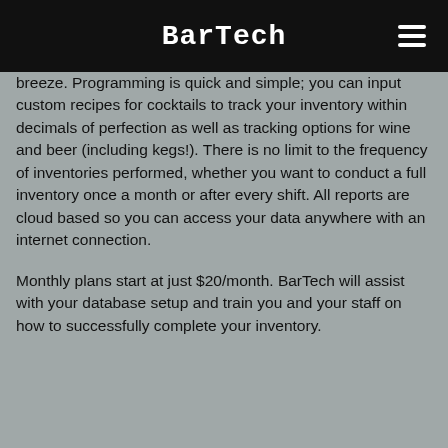BarTech
breeze. Programming is quick and simple; you can input custom recipes for cocktails to track your inventory within decimals of perfection as well as tracking options for wine and beer (including kegs!). There is no limit to the frequency of inventories performed, whether you want to conduct a full inventory once a month or after every shift. All reports are cloud based so you can access your data anywhere with an internet connection.
Monthly plans start at just $20/month. BarTech will assist with your database setup and train you and your staff on how to successfully complete your inventory.